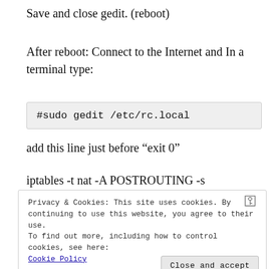Save and close gedit. (reboot)
After reboot: Connect to the Internet and In a terminal type:
#sudo gedit /etc/rc.local
add this line just before “exit 0”
iptables -t nat -A POSTROUTING -s
Privacy & Cookies: This site uses cookies. By continuing to use this website, you agree to their use.
To find out more, including how to control cookies, see here:
Cookie Policy
Close and accept